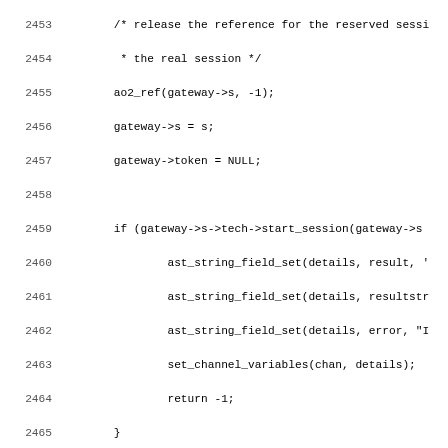Source code listing, lines 2453-2485, C programming language code for fax gateway functions.